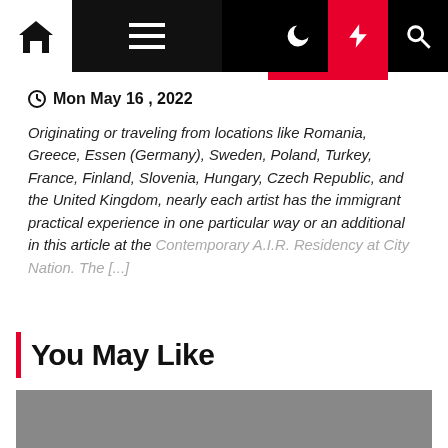Navigation bar with home icon, hamburger menu, moon icon, lightning bolt icon, search icon
Mon May 16 , 2022
Originating or traveling from locations like Romania, Greece, Essen (Germany), Sweden, Poland, Turkey, France, Finland, Slovenia, Hungary, Czech Republic, and the United Kingdom, nearly each artist has the immigrant practical experience in one particular way or an additional in this article at the Contemporary A.I.R. Residency at City Nation. The [...]
You May Like
[Figure (photo): Gray image placeholder for a 'You May Like' article thumbnail]